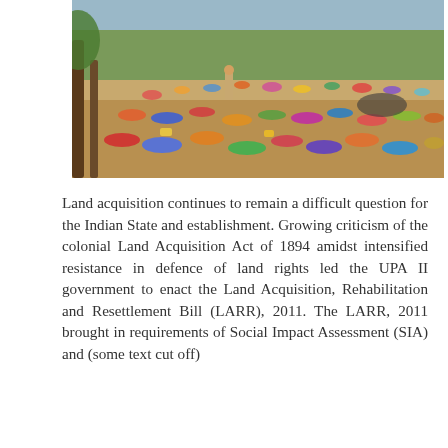[Figure (photo): Outdoor scene showing a large crowd of people, many dressed in colorful clothing, resting or sitting on sandy ground under trees. This appears to be a protest or gathering related to land rights in India.]
Land acquisition continues to remain a difficult question for the Indian State and establishment. Growing criticism of the colonial Land Acquisition Act of 1894 amidst intensified resistance in defence of land rights led the UPA II government to enact the Land Acquisition, Rehabilitation and Resettlement Bill (LARR), 2011. The LARR, 2011 brought in requirements of Social Impact Assessment (SIA) and (some text cut off)